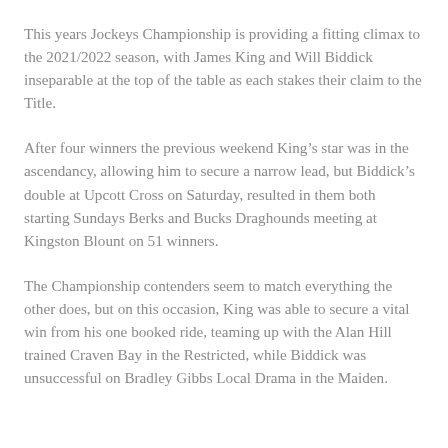This years Jockeys Championship is providing a fitting climax to the 2021/2022 season, with James King and Will Biddick inseparable at the top of the table as each stakes their claim to the Title.
After four winners the previous weekend King's star was in the ascendancy, allowing him to secure a narrow lead, but Biddick's double at Upcott Cross on Saturday, resulted in them both starting Sundays Berks and Bucks Draghounds meeting at Kingston Blount on 51 winners.
The Championship contenders seem to match everything the other does, but on this occasion, King was able to secure a vital win from his one booked ride, teaming up with the Alan Hill trained Craven Bay in the Restricted, while Biddick was unsuccessful on Bradley Gibbs Local Drama in the Maiden.